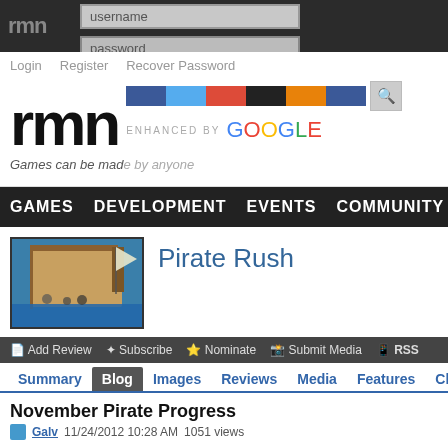[Figure (screenshot): RMN website header with username/password login fields, login/register/recover links, large RMN logo, social bar, ENHANCED BY Google search bar, tagline 'Games can be made by anyone']
GAMES  DEVELOPMENT  EVENTS  COMMUNITY
[Figure (screenshot): Pirate Rush game thumbnail - pirate ship and characters on blue water]
Pirate Rush
Add Review  Subscribe  Nominate  Submit Media  RSS
Summary  Blog  Images  Reviews  Media  Features  Characters
November Pirate Progress
Galv  11/24/2012 10:28 AM  1051 views
Okay, so I've been slack and busy learning scripting and other things so haven't done anyway, even though it's not that much more gameplay. Total time it took m...